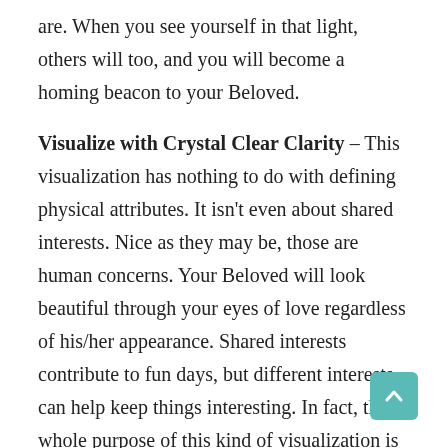are. When you see yourself in that light, others will too, and you will become a homing beacon to your Beloved.
Visualize with Crystal Clear Clarity – This visualization has nothing to do with defining physical attributes. It isn't even about shared interests. Nice as they may be, those are human concerns. Your Beloved will look beautiful through your eyes of love regardless of his/her appearance. Shared interests contribute to fun days, but different interests can help keep things interesting. In fact, the whole purpose of this kind of visualization is to release these limiting pre-conceived notions, to become open